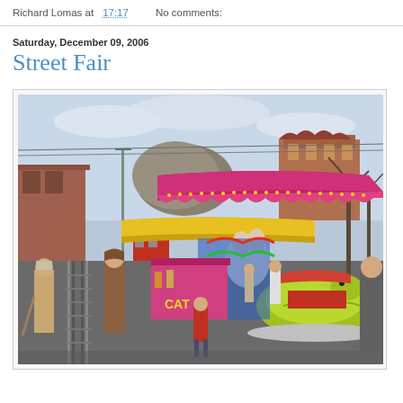Richard Lomas at 17:17   No comments:
Saturday, December 09, 2006
Street Fair
[Figure (photo): A street fair scene with colorful carnival rides including a caterpillar ride with pink/magenta awning and cartoon character decorations. People including adults and a child walk along a street next to tram tracks. A Victorian-style building and rocky outcrop are visible in the background. Bare winter trees line the right side.]